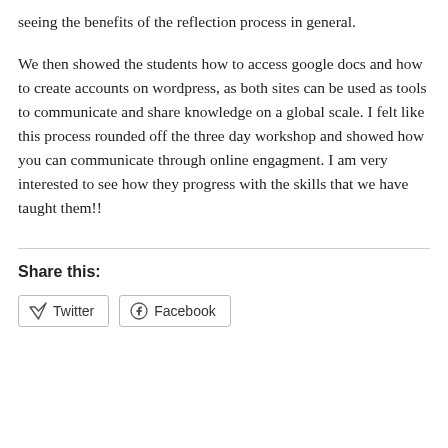seeing the benefits of the reflection process in general.
We then showed the students how to access google docs and how to create accounts on wordpress, as both sites can be used as tools to communicate and share knowledge on a global scale. I felt like this process rounded off the three day workshop and showed how you can communicate through online engagment. I am very interested to see how they progress with the skills that we have taught them!!
Share this:
Twitter
Facebook